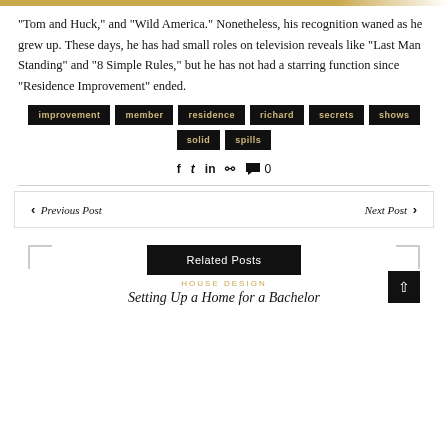“Tom and Huck,” and “Wild America.” Nonetheless, his recognition waned as he grew up. These days, he has had small roles on television reveals like “Last Man Standing” and “8 Simple Rules,” but he has not had a starring function since “Residence Improvement” ended.
improvement
member
residence
richard
secrets
shows
solid
spills
f t in p ✓ 0
Previous Post
Next Post
Related Posts
HOUSE DESIGN
Setting Up a Home for a Bachelor